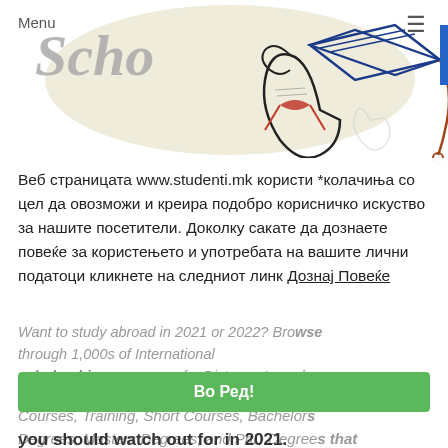Menu / Schol... [logo with graduation cap and diploma illustration]
Веб страницата www.studenti.mk користи *колачиња со цел да овозможи и креира подобро корисничко искуство за нашите посетители. Доколку сакате да дознаете повеќе за користењето и употребата на вашите лични податоци кликнете на следниот линк Дознај Повеќе
Want to study abroad in 2021 or 2022? Browse through 1,000s of International scholarships programs for Distance Learning Courses, Training, Short Courses, Bachelors Degrees, Masters Degrees, and PhD Degrees that you should watch out for in 2021.
Во Ред!